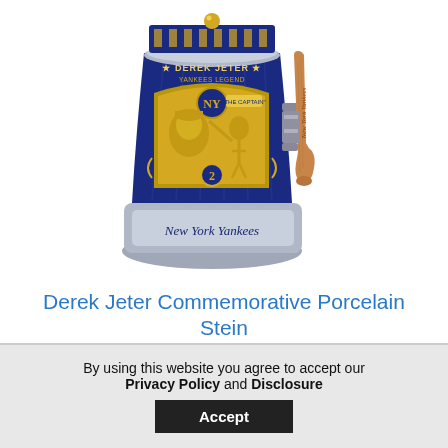[Figure (photo): Derek Jeter commemorative porcelain stein in navy blue with gold relief artwork depicting Derek Jeter's face and a batter swinging, inscribed with 'DEREK JETER YANKEES LEGEND' and 'THE CAPTAIN', number 2 medallion, New York Yankees script on the base, and a baseball bat-shaped handle reading 'New York Yankees'.]
Derek Jeter Commemorative Porcelain Stein
By using this website you agree to accept our Privacy Policy and Disclosure
Accept